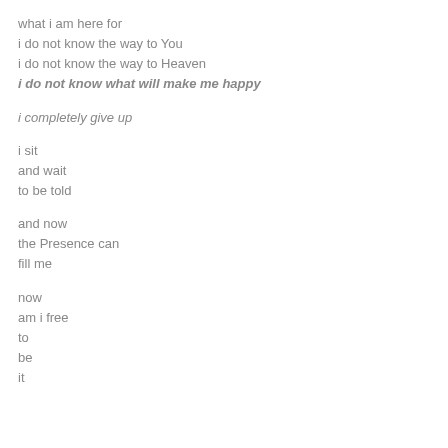what i am here for
i do not know the way to You
i do not know the way to Heaven
i do not know what will make me happy

i completely give up

i sit
and wait
to be told

and now
the Presence can
fill me

now
am i free
to
be
it